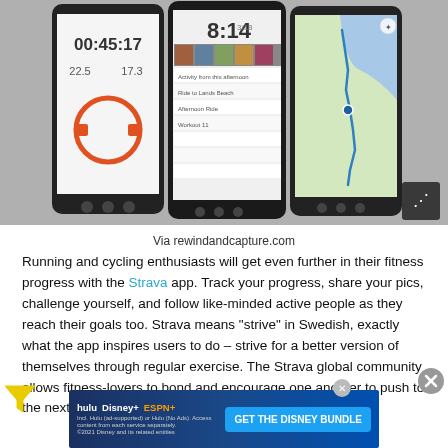[Figure (screenshot): Three Android smartphones showing the Strava fitness tracking app: left phone shows a running timer at 00:45:17 with stats 22.5 and 17.3, center phone shows 8:14 time with a list and photos, right phone shows a map with a route traced along a coastline. A share button icon is in the bottom-right corner.]
Via rewindandcapture.com
Running and cycling enthusiasts will get even further in their fitness progress with the Strava app. Track your progress, share your pics, challenge yourself, and follow like-minded active people as they reach their goals too. Strava means "strive" in Swedish, exactly what the app inspires users to do – strive for a better version of themselves through regular exercise. The Strava global community allows fitness-lovers to bond and encourage one another to push to the next level, from beginners to pros. T...